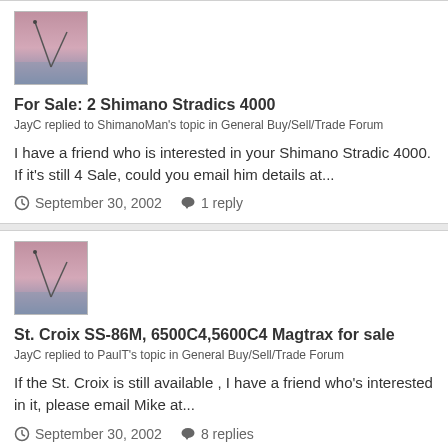[Figure (photo): Small avatar thumbnail showing a pink/purple sunset sky scene]
For Sale: 2 Shimano Stradics 4000
JayC replied to ShimanoMan's topic in General Buy/Sell/Trade Forum
I have a friend who is interested in your Shimano Stradic 4000. If it's still 4 Sale, could you email him details at...
September 30, 2002   1 reply
[Figure (photo): Small avatar thumbnail showing a pink/purple sunset sky scene]
St. Croix SS-86M, 6500C4,5600C4 Magtrax for sale
JayC replied to PaulT's topic in General Buy/Sell/Trade Forum
If the St. Croix is still available , I have a friend who's interested in it, please email Mike at...
September 30, 2002   8 replies